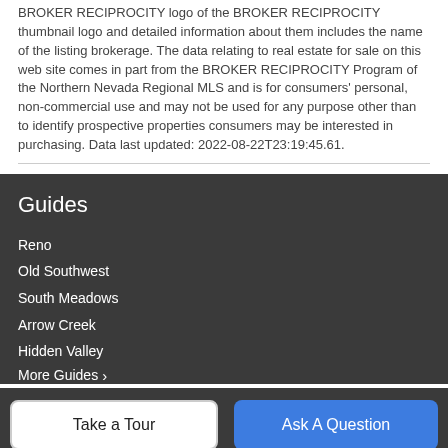BROKER RECIPROCITY logo of the BROKER RECIPROCITY thumbnail logo and detailed information about them includes the name of the listing brokerage. The data relating to real estate for sale on this web site comes in part from the BROKER RECIPROCITY Program of the Northern Nevada Regional MLS and is for consumers' personal, non-commercial use and may not be used for any purpose other than to identify prospective properties consumers may be interested in purchasing. Data last updated: 2022-08-22T23:19:45.61.
Guides
Reno
Old Southwest
South Meadows
Arrow Creek
Hidden Valley
More Guides ›